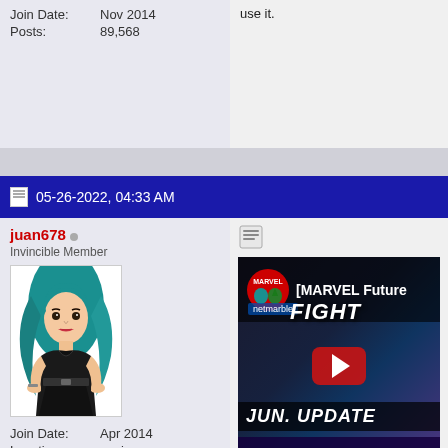Join Date: Nov 2014
Posts: 89,568
use it.
05-26-2022, 04:33 AM
juan678
Invincible Member
[Figure (illustration): Avatar illustration of a woman with long teal/green hair wearing a black dress]
Join Date: Apr 2014
Location: spain
Posts: 22,992
[Figure (screenshot): YouTube video thumbnail for MARVEL Future Fight JUN. UPDATE SNEAK PEEK video by netmarble]